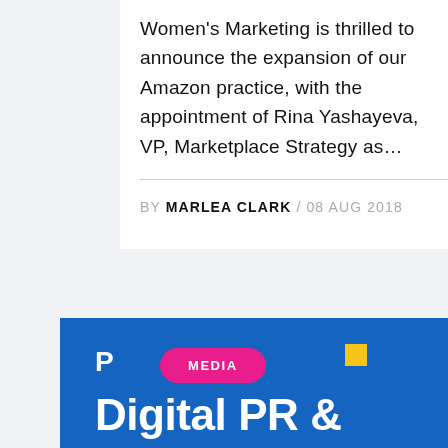Women's Marketing is thrilled to announce the expansion of our Amazon practice, with the appointment of Rina Yashayeva, VP, Marketplace Strategy as...
BY MARLEA CLARK / 08 AUG 2018
[Figure (other): Blue banner with pink MEDIA pill badge, yellow square, large 'P' letter, and 'Digital PR &' text in white on blue background]